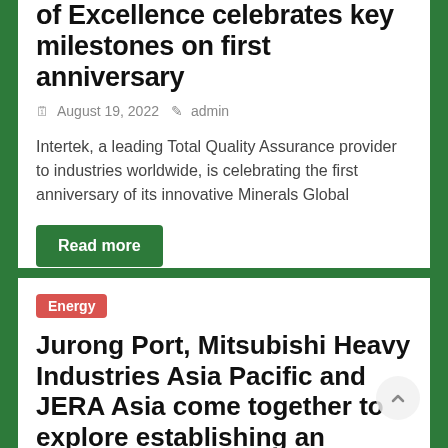of Excellence celebrates key milestones on first anniversary
August 19, 2022   admin
Intertek, a leading Total Quality Assurance provider to industries worldwide, is celebrating the first anniversary of its innovative Minerals Global
Read more
Energy
Jurong Port, Mitsubishi Heavy Industries Asia Pacific and JERA Asia come together to explore establishing an ammonia direct combustion power plant. The project aims to accomplish the